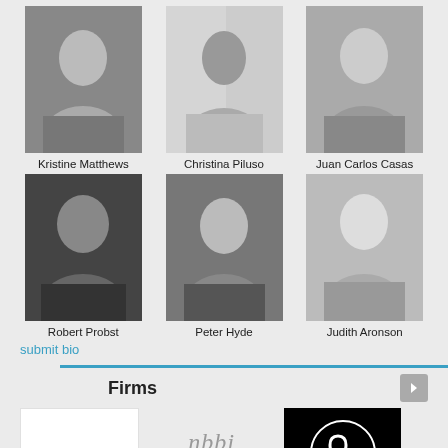[Figure (photo): Black and white headshot of Kristine Matthews]
Kristine Matthews
[Figure (photo): Black and white headshot of Christina Piluso]
Christina Piluso
[Figure (photo): Black and white headshot of Juan Carlos Casas]
Juan Carlos Casas
[Figure (photo): Black and white headshot of Robert Probst]
Robert Probst
[Figure (photo): Black and white headshot of Peter Hyde]
Peter Hyde
[Figure (photo): Black and white headshot of Judith Aronson]
Judith Aronson
submit bio
Firms
[Figure (logo): SOLOMON GROUP logo on white background]
[Figure (logo): nbbj DESIGN logo on gray background]
[Figure (logo): Circular chain-link icon on black background]